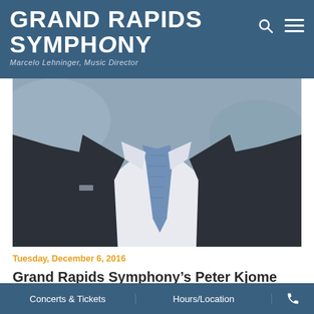GRAND RAPIDS SYMPHONY
Marcelo Lehninger, Music Director
[Figure (photo): Headless torso of a man in a dark suit with a light blue tie and white dress shirt]
Tuesday, December 6, 2016
Grand Rapids Symphony’s Peter Kjome appointed as Baltimore Symphony President and CEO
Grand Rapids Symphony President and CEO Peter Kjome, who
Concerts & Tickets   |   Hours/Location   |   ☏